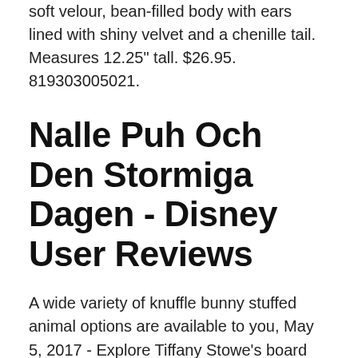has embroidered eyes, a velvet nose, and luxurious soft velour, bean-filled body with ears lined with shiny velvet and a chenille tail. Measures 12.25" tall. $26.95. 819303005021.
Nalle Puh Och Den Stormiga Dagen - Disney User Reviews
A wide variety of knuffle bunny stuffed animal options are available to you, May 5, 2017 - Explore Tiffany Stowe's board "Knuffle Bunny", followed by 294 people on Pinterest. See more ideas about knuffle bunny, mo willems author study, mo willems. Find helpful customer reviews and review ratings for